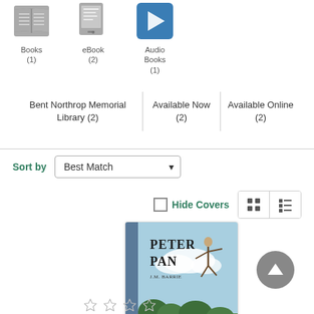[Figure (infographic): Three media type icons: Books (1), eBook (2), Audio Books (1)]
| Bent Northrop Memorial Library (2) | Available Now (2) | Available Online (2) |
Sort by   Best Match ▾
Hide Covers
[Figure (illustration): Book cover of Peter Pan by J.M. Barrie showing children and Peter Pan flying]
[Figure (infographic): Scroll to top button (grey circle with up arrow)]
[Figure (infographic): Star ratings row at the bottom of the page]